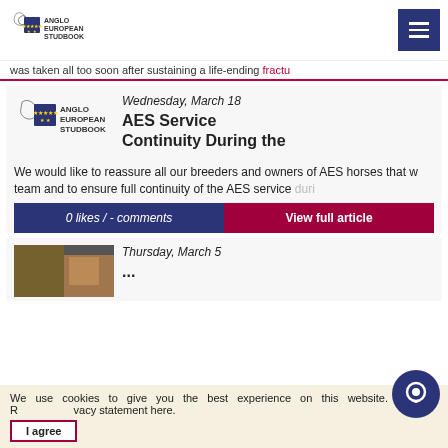Anglo European Studbook
was taken all too soon after sustaining a life-ending fractu...
Wednesday, March 18
AES Service Continuity During the
We would like to reassure all our breeders and owners of AES horses that w... team and to ensure full continuity of the AES service duri...
0 likes / - comments
View full article
Thursday, March 5
We use cookies to give you the best experience on this website. R... vacy statement here.
I agree